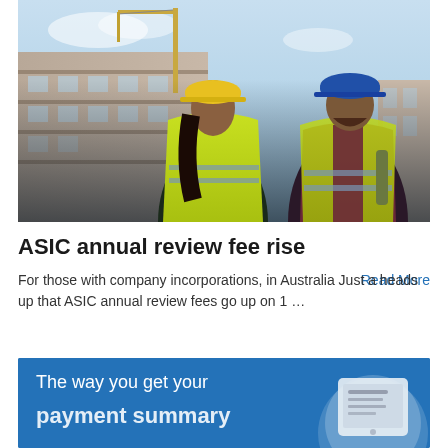[Figure (photo): Two construction workers in high-visibility green vests and hard hats (one yellow, one blue) viewed from behind, looking at a multi-story building under construction with scaffolding and a crane in the background against a blue sky.]
ASIC annual review fee rise
For those with company incorporations, in Australia Just a heads up that ASIC annual review fees go up on 1 …
Read More
[Figure (illustration): Blue promotional card with white text reading 'The way you get your payment summary' with a tablet/device illustration on the right side showing a document screen.]